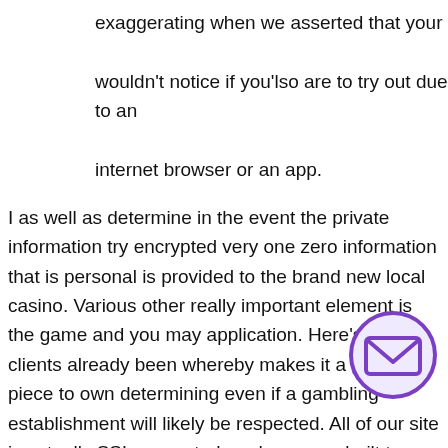exaggerating when we asserted that your wouldn't notice if you'lso are to try out due to an internet browser or an app.
I as well as determine in the event the private information try encrypted very one zero information that is personal is provided to the brand new local casino. Various other really important element is the game and you may application. Here's what clients already been whereby makes it a good vital piece to own determining even if a gambling establishment will likely be respected. All of our site is actually SSL encrypted, and you may built to perhaps not ensure it is attack out of 3rd-group internet sites, thereby making certain our very own players' security. Ple browse the fresh abovementioned links if you wo get the full story information regarding in charge gambling or if you'lso are having trouble which have a
[Figure (illustration): Email envelope icon inside a purple circle, positioned in the lower right area of the page.]